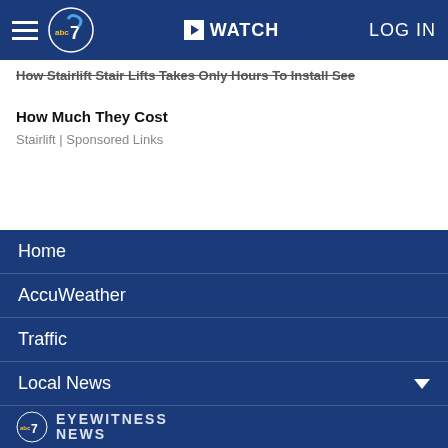abc7 WATCH LOG IN
How Stairlift Stair Lifts Takes Only Hours To Install See How Much They Cost
Stairlift | Sponsored Links
Home
AccuWeather
Traffic
Local News
Categories
Station Info
Shows
Apps
EYEWITNESS NEWS